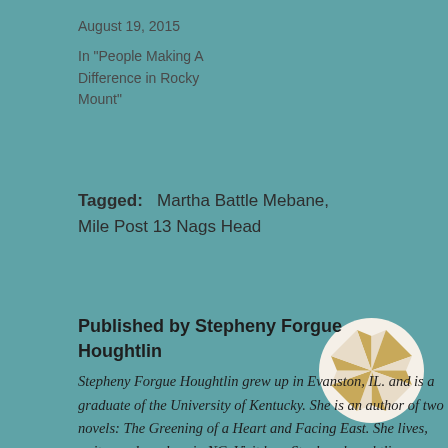August 19, 2015
In "People Making A Difference in Rocky Mount"
Tagged:   Martha Battle Mebane, Mile Post 13 Nags Head
Published by Stepheny Forgue Houghtlin
Stepheny Forgue Houghtlin grew up in Evanston, IL. and is a graduate of the University of Kentucky. She is an author of two novels: The Greening of a Heart and Facing East. She lives, writes and gardens in NC. Visit her: Stephenyhoughtlin.com View all
[Figure (logo): Circular logo with a gold/tan geometric star/pinwheel pattern on a teal-tinted white circle background]